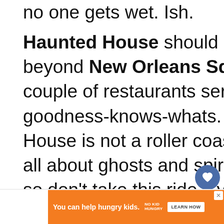no one gets wet. Ish.
Haunted House should be next. It's just beyond New Orleans Square which has a couple of restaurants serving deep fried goodness-knows-whats. The Haunted House is not a roller coaster either but it's all about ghosts and spirits and holograms, so don't take this ride if you easily spooked. At Christmas and Halloween the props are all dressed appropriately themed attire.
[Figure (other): Heart/like button UI overlay (blue circle with heart icon)]
[Figure (other): Share button UI overlay (light circle with share icon) with count 2]
[Figure (other): What's Next teaser box with thumbnail image and text 'When's the best time to...']
[Figure (other): Orange advertisement banner: 'You can help hungry kids. No Kid Hungry. LEARN HOW']